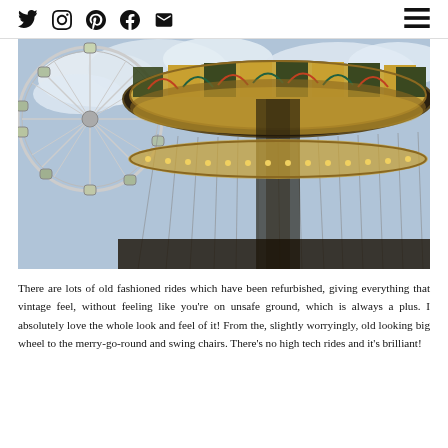Social media icons: Twitter, Instagram, Pinterest, Facebook, Email; Hamburger menu
[Figure (photo): Looking up at a vintage swing carousel/chair ride with ornate decorated canopy top, with a Ferris wheel visible behind it against a cloudy sky]
There are lots of old fashioned rides which have been refurbished, giving everything that vintage feel, without feeling like you're on unsafe ground, which is always a plus. I absolutely love the whole look and feel of it! From the, slightly worryingly, old looking big wheel to the merry-go-round and swing chairs. There's no high tech rides and it's brilliant!